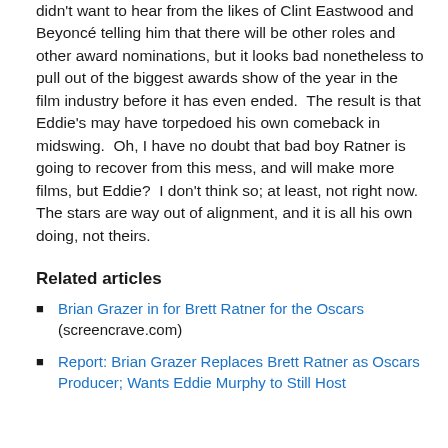didn't want to hear from the likes of Clint Eastwood and Beyoncé telling him that there will be other roles and other award nominations, but it looks bad nonetheless to pull out of the biggest awards show of the year in the film industry before it has even ended.  The result is that Eddie's may have torpedoed his own comeback in midswing.  Oh, I have no doubt that bad boy Ratner is going to recover from this mess, and will make more films, but Eddie?  I don't think so; at least, not right now.  The stars are way out of alignment, and it is all his own doing, not theirs.
Related articles
Brian Grazer in for Brett Ratner for the Oscars (screencrave.com)
Report: Brian Grazer Replaces Brett Ratner as Oscars Producer; Wants Eddie Murphy to Still Host